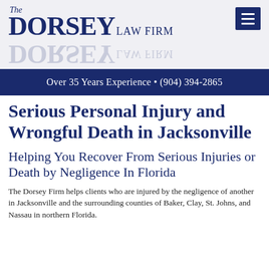The DORSEY LAW FIRM
Over 35 Years Experience • (904) 394-2865
Serious Personal Injury and Wrongful Death in Jacksonville
Helping You Recover From Serious Injuries or Death by Negligence In Florida
The Dorsey Firm helps clients who are injured by the negligence of another in Jacksonville and the surrounding counties of Baker, Clay, St. Johns, and Nassau in northern Florida.